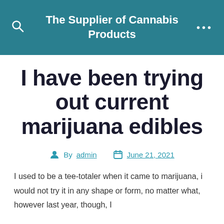The Supplier of Cannabis Products
I have been trying out current marijuana edibles
By admin   June 21, 2021
I used to be a tee-totaler when it came to marijuana, i would not try it in any shape or form, no matter what, however last year, though, I